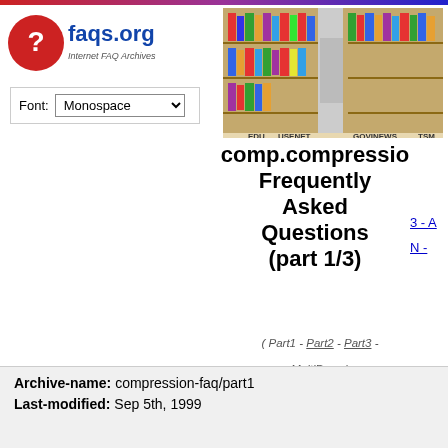[Figure (logo): faqs.org logo with red question mark icon and text 'faqs.org Internet FAQ Archives']
Font: Monospace (dropdown)
[Figure (photo): Bookshelf image showing shelves with books, labeled EDU, USENET, GOVINEWS, TSM]
comp.compression Frequently Asked Questions (part 1/3)
( Part1 - Part2 - Part3 - MultiPage )
[ Usenet FAQs | Web FAQs | Documents | RFC Index | Zip codes ]
Archive-name: compression-faq/part1
Last-modified: Sep 5th, 1999